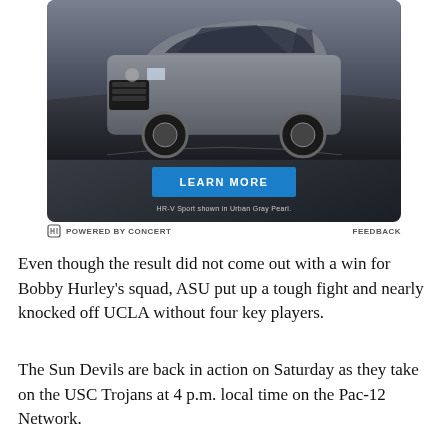[Figure (photo): Honda HR-V Sport SUV advertisement showing the car from front-left angle on a dark road background, with a blue 'LEARN MORE' button and text 'HR-V Sport shown in Urban Gray Pearl']
POWERED BY CONCERT   FEEDBACK
Even though the result did not come out with a win for Bobby Hurley's squad, ASU put up a tough fight and nearly knocked off UCLA without four key players.
The Sun Devils are back in action on Saturday as they take on the USC Trojans at 4 p.m. local time on the Pac-12 Network.